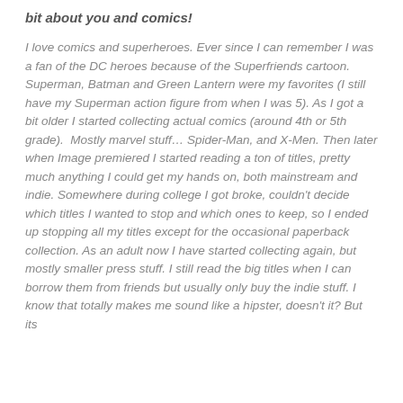bit about you and comics!
I love comics and superheroes. Ever since I can remember I was a fan of the DC heroes because of the Superfriends cartoon. Superman, Batman and Green Lantern were my favorites (I still have my Superman action figure from when I was 5). As I got a bit older I started collecting actual comics (around 4th or 5th grade).  Mostly marvel stuff… Spider-Man, and X-Men. Then later when Image premiered I started reading a ton of titles, pretty much anything I could get my hands on, both mainstream and indie. Somewhere during college I got broke, couldn't decide which titles I wanted to stop and which ones to keep, so I ended up stopping all my titles except for the occasional paperback collection. As an adult now I have started collecting again, but mostly smaller press stuff. I still read the big titles when I can borrow them from friends but usually only buy the indie stuff. I know that totally makes me sound like a hipster, doesn't it? But its